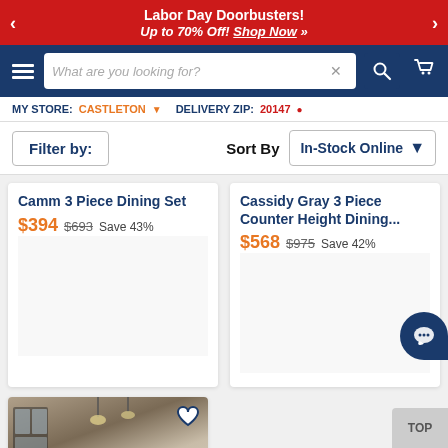Labor Day Doorbusters! Up to 70% Off! Shop Now »
[Figure (screenshot): Navigation bar with hamburger menu, search box reading 'What are you looking for?', search button, and cart icon]
MY STORE: CASTLETON ▾   DELIVERY ZIP: 20147 ▾
Filter by:   Sort By   In-Stock Online ▼
Camm 3 Piece Dining Set
$394  $693  Save 43%
Cassidy Gray 3 Piece Counter Height Dining...
$568  $975  Save 42%
[Figure (photo): Product photo of a dining room set with dark chairs and pendant lighting in a modern interior setting]